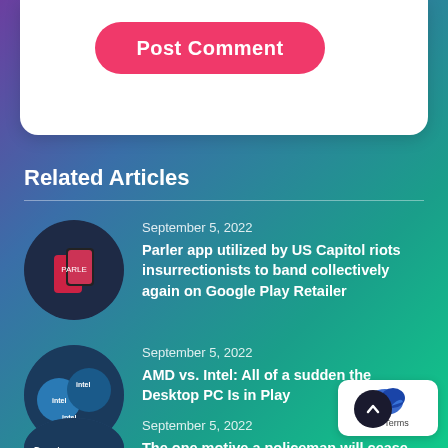Post Comment
Related Articles
September 5, 2022
Parler app utilized by US Capitol riots insurrectionists to band collectively again on Google Play Retailer
September 5, 2022
AMD vs. Intel: All of a sudden the Desktop PC Is in Play
September 5, 2022
The one motive a policeman will cease you...